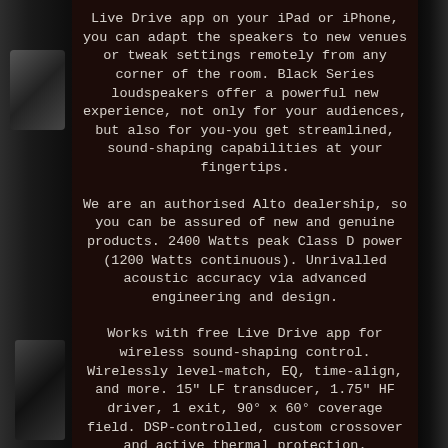[Figure (photo): Dark background with speaker cabinet visible on left and right edges, with dark brown/maroon center panel containing white monospace text]
Live Drive app on your iPad or iPhone, you can adapt the speakers to new venues or tweak settings remotely from any corner of the room. Black Series loudspeakers offer a powerful new experience, not only for your audiences, but also for you-you get streamlined, sound-shaping capabilities at your fingertips.
We are an authorised Alto dealership, so you can be assured of new and genuine products. 2400 Watts peak Class D power (1200 Watts continuous). Unrivalled acoustic accuracy via advanced engineering and design.
Works with free Live Drive app for wireless sound-shaping control. Wirelessly level-match, EQ, time-align, and more. 15" LF transducer, 1.75" HF driver, 1 exit, 90° x 60° coverage field. DSP-controlled, custom crossover and active thermal protection.
HF waveguide, extensively tested for optimized audience coverage. Purpose-